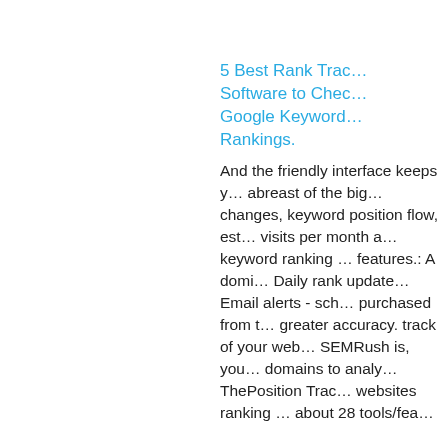5 Best Rank Tracking Software to Check Google Keyword Rankings.
And the friendly interface keeps you abreast of the biggest changes, keyword position flow, estimated visits per month and keyword ranking features.: A domain Daily rank updates Email alerts - sch purchased from the greater accuracy. track of your web SEMRush is, you domains to analy ThePosition Trac websites ranking about 28 tools/fea